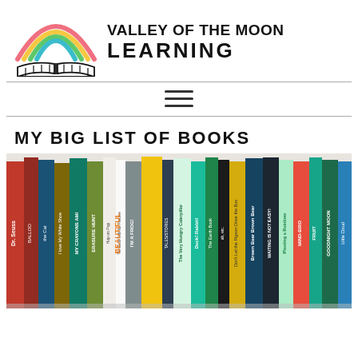[Figure (logo): Valley of the Moon Learning logo: rainbow with colorful arcs (pink, yellow, green, teal) above an open book with black lines, all in hand-drawn style]
VALLEY OF THE MOON LEARNING
[Figure (other): Hamburger menu icon — three horizontal lines]
MY BIG LIST OF BOOKS
[Figure (photo): A row of colorful children's books standing upright, spines visible. Titles include Dr. Seuss, The Very Hungry Caterpillar, Brown Bear Brown Bear, Planting a Rainbow, BIRD, FRUIT, Goodnight Moon, and many others.]